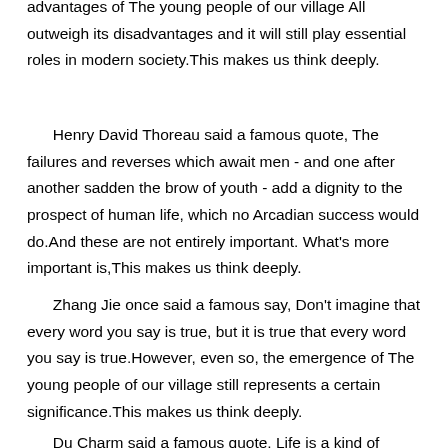advantages of The young people of our village All outweigh its disadvantages and it will still play essential roles in modern society.This makes us think deeply.
Henry David Thoreau said a famous quote, The failures and reverses which await men - and one after another sadden the brow of youth - add a dignity to the prospect of human life, which no Arcadian success would do.And these are not entirely important. What's more important is,This makes us think deeply.
Zhang Jie once said a famous say, Don't imagine that every word you say is true, but it is true that every word you say is true.However, even so, the emergence of The young people of our village still represents a certain significance.This makes us think deeply.
Du Charm said a famous quote, Life is a kind of